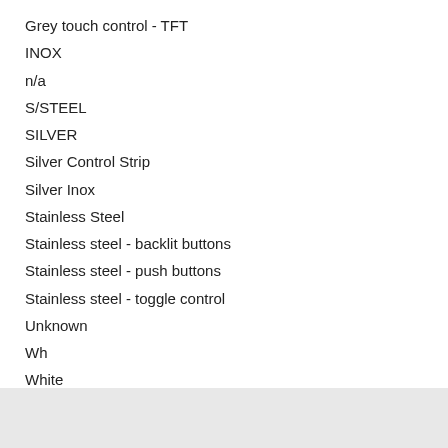Grey touch control - TFT
INOX
n/a
S/STEEL
SILVER
Silver Control Strip
Silver Inox
Stainless Steel
Stainless steel - backlit buttons
Stainless steel - push buttons
Stainless steel - toggle control
Unknown
Wh
White
White Control Strip